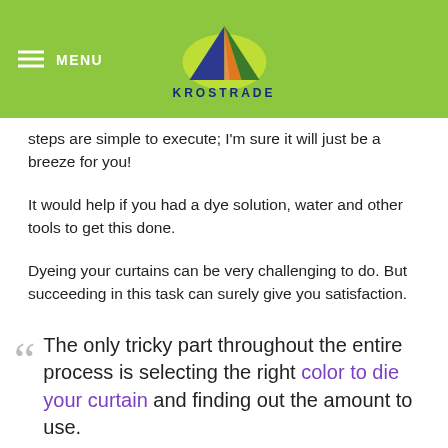MENU | KROSTRADE
steps are simple to execute; I'm sure it will just be a breeze for you!
It would help if you had a dye solution, water and other tools to get this done.
Dyeing your curtains can be very challenging to do. But succeeding in this task can surely give you satisfaction.
“The only tricky part throughout the entire process is selecting the right color to die your curtain and finding out the amount to use.